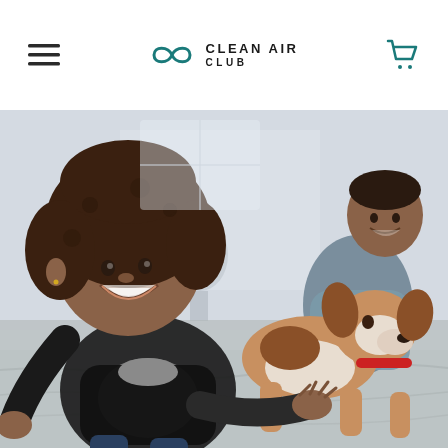Clean Air Club — navigation bar with hamburger menu, logo, and cart icon
[Figure (photo): A young girl with curly hair laughing and playing with a beagle dog on a bed, with a smiling man in the background, in a bright airy room. Hero image for Clean Air Club website.]